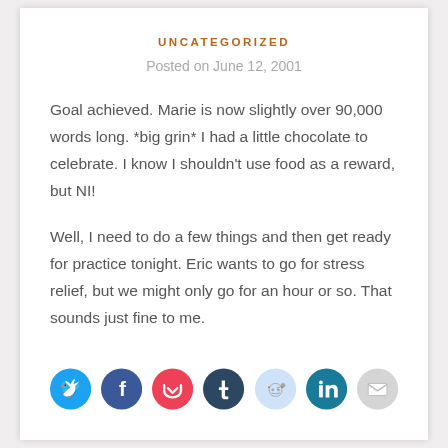UNCATEGORIZED
Posted on June 12, 2001
Goal achieved. Marie is now slightly over 90,000 words long. *big grin* I had a little chocolate to celebrate. I know I shouldn't use food as a reward, but NI!
Well, I need to do a few things and then get ready for practice tonight. Eric wants to go for stress relief, but we might only go for an hour or so. That sounds just fine to me.
[Figure (infographic): Social sharing buttons: Twitter (blue), Facebook (blue), Pocket (red), Tumblr (dark navy), Reddit (light blue), LinkedIn (teal), Email (light gray)]